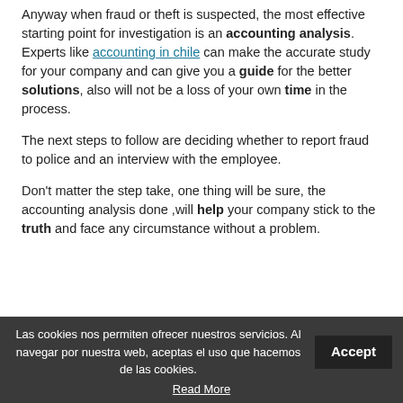Anyway when fraud or theft is suspected, the most effective starting point for investigation is an accounting analysis. Experts like accounting in chile can make the accurate study for your company and can give you a guide for the better solutions, also will not be a loss of your own time in the process.
The next steps to follow are deciding whether to report fraud to police and an interview with the employee.
Don't matter the step take, one thing will be sure, the accounting analysis done ,will help your company stick to the truth and face any circumstance without a problem.
Esta entrada fue publicada en Sin categoría el 9 enero, 2015 por spainational.
Las cookies nos permiten ofrecer nuestros servicios. Al navegar por nuestra web, aceptas el uso que hacemos de las cookies. Accept Read More